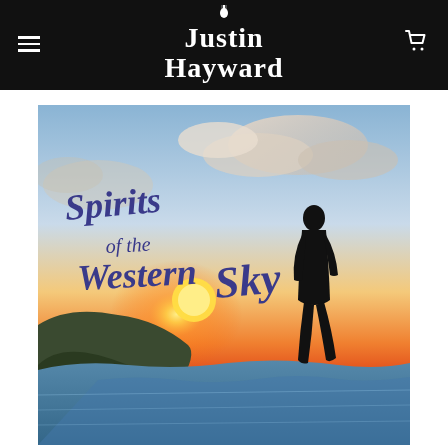Justin Hayward
[Figure (photo): Album cover for 'Spirits of the Western Sky' by Justin Hayward, showing a silhouette of a person standing on a coastal cliff overlooking the ocean at sunset, with stylized cursive text reading 'Spirits of the Western Sky' in purple/blue tones on the left side of the image.]